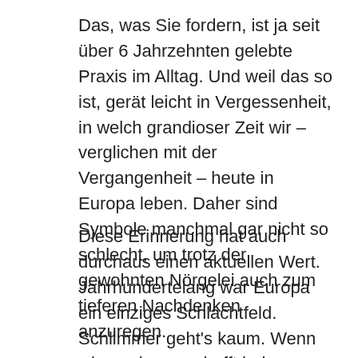Das, was Sie fordern, ist ja seit über 6 Jahrzehnten gelebte Praxis im Alltag. Und weil das so ist, gerät leicht in Vergessenheit, in welch grandioser Zeit wir – verglichen mit der Vergangenheit – heute in Europa leben. Daher sind Symbole manchmal gar nicht so schlecht, um trotz der gewohnten Nörgelei auch zum tieferen Nachdenken anzuregen.
Diese Erinnerung hat auch durchaus einen aktuellen Wert. Jahrhundertelang war Europa ein einziges Schlachtfeld. Schlimmer geht's kaum. Wenn wir es also geschafft haben, uns zu besinnen und die größten (tatsächlichen oder nur künstlich erzeugten) Konflikte friedlich zu lösen: Warum soll das in anderen Teilen der Welt nicht